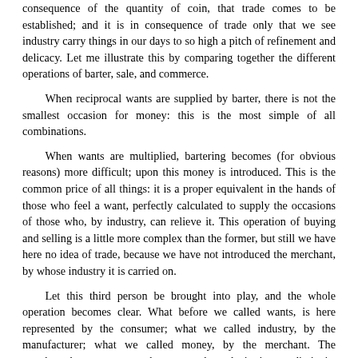consequence of the quantity of coin, that trade comes to be established; and it is in consequence of trade only that we see industry carry things in our days to so high a pitch of refinement and delicacy. Let me illustrate this by comparing together the different operations of barter, sale, and commerce.
When reciprocal wants are supplied by barter, there is not the smallest occasion for money: this is the most simple of all combinations.
When wants are multiplied, bartering becomes (for obvious reasons) more difficult; upon this money is introduced. This is the common price of all things: it is a proper equivalent in the hands of those who feel a want, perfectly calculated to supply the occasions of those who, by industry, can relieve it. This operation of buying and selling is a little more complex than the former, but still we have here no idea of trade, because we have not introduced the merchant, by whose industry it is carried on.
Let this third person be brought into play, and the whole operation becomes clear. What before we called wants, is here represented by the consumer; what we called industry, by the manufacturer; what we called money, by the merchant. The merchant here represents the money, by substituting credit in its place; and as the money was invented to facilitate barter, so the